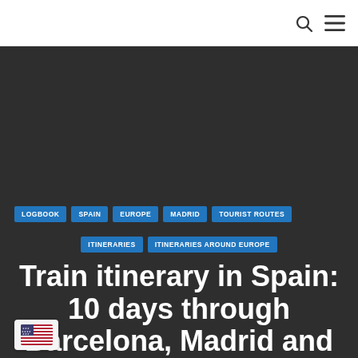[Figure (photo): Dark hero background image for travel article about train itinerary in Spain]
LOGBOOK
SPAIN
EUROPE
MADRID
TOURIST ROUTES
ITINERARIES
ITINERARIES AROUND EUROPE
Train itinerary in Spain: 10 days through Barcelona, Madrid and the south of the country